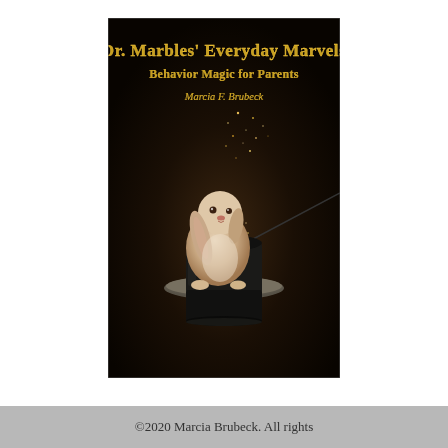[Figure (illustration): Book cover for 'Dr. Marbles' Everyday Marvels: Behavior Magic for Parents' by Marcia F. Brubeck. Dark brown/black background with a white lop-eared rabbit sitting inside a black top hat. Golden sparkles and magical light emanate from the hat. A magic wand touches the hat from the right. Title text at top in gold/yellow serif font. Author name in gold italic font below subtitle.]
©2020 Marcia Brubeck. All rights